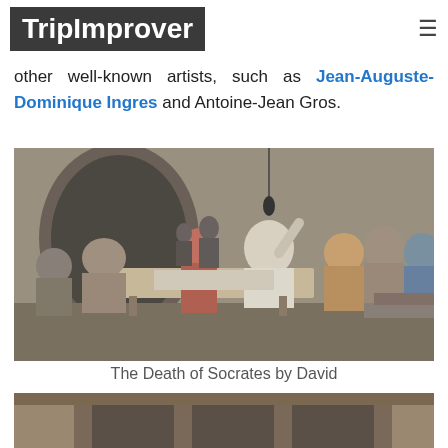TripImprover
other well-known artists, such as Jean-Auguste-Dominique Ingres and Antoine-Jean Gros.
[Figure (illustration): The Death of Socrates painting by Jacques-Louis David, showing Socrates on his deathbed reaching for a cup of hemlock, surrounded by grieving disciples in a stone chamber.]
The Death of Socrates by David
[Figure (illustration): Partial view of another painting at the bottom of the page, showing a stone interior scene.]